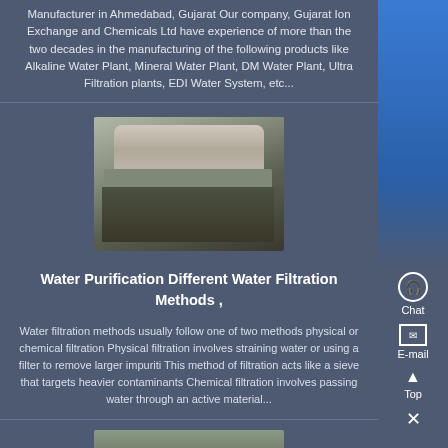Manufacturer in Ahmedabad, Gujarat Our company, Gujarat Ion Exchange and Chemicals Ltd have experience of more than the two decades in the manufacturing of the following products like Alkaline Water Plant, Mineral Water Plant, DM Water Plant, Ultra Filtration plants, EDI Water System, etc...
[Figure (photo): Industrial water treatment or filtration machine/equipment in a facility]
Water Purification Different Water Filtration Methods ,
Water filtration methods usually follow one of two methods physical or chemical filtration Physical filtration involves straining water or using a filter to remove larger impuriti This method of filtration acts like a sieve that targets heavier contaminants Chemical filtration involves passing water through an active material...
[Figure (photo): Water treatment equipment or plant facility image at bottom of page]